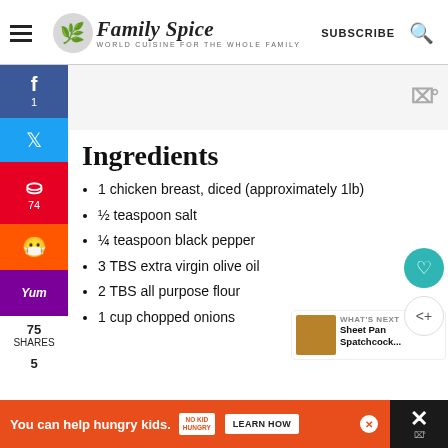Family Spice — WORLD CUISINE FOR THE WHOLE FAMILY | SUBSCRIBE
[Figure (screenshot): Recipe image placeholder with watermark icon]
Ingredients
1 chicken breast, diced (approximately 1lb)
½ teaspoon salt
¼ teaspoon black pepper
3 TBS extra virgin olive oil
2 TBS all purpose flour
1 cup chopped onions
You can help hungry kids. NO KID HUNGRY LEARN HOW